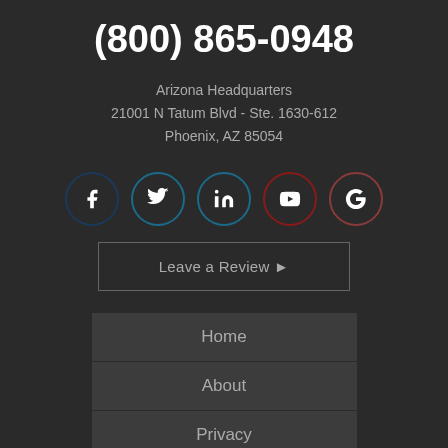(800) 865-0948
Arizona Headquarters
21001 N Tatum Blvd - Ste. 1630-612
Phoenix, AZ 85054
[Figure (infographic): Row of 5 social media icon circles: Facebook (dark blue border), Twitter (teal border), LinkedIn (teal border), YouTube (red border), Google+ (red border). White icons on dark background.]
Leave a Review ▶
Home
About
Privacy